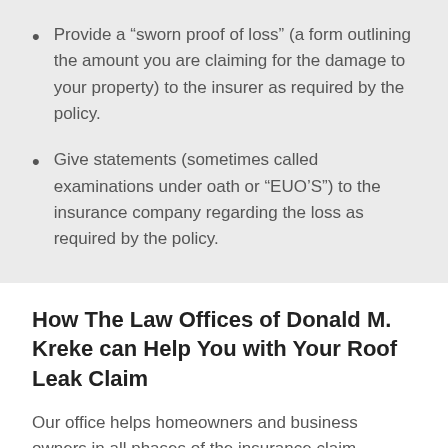Provide a “sworn proof of loss” (a form outlining the amount you are claiming for the damage to your property) to the insurer as required by the policy.
Give statements (sometimes called examinations under oath or “EUO’S”) to the insurance company regarding the loss as required by the policy.
How The Law Offices of Donald M. Kreke can Help You with Your Roof Leak Claim
Our office helps homeowners and business owners in all phases of the insurance claim